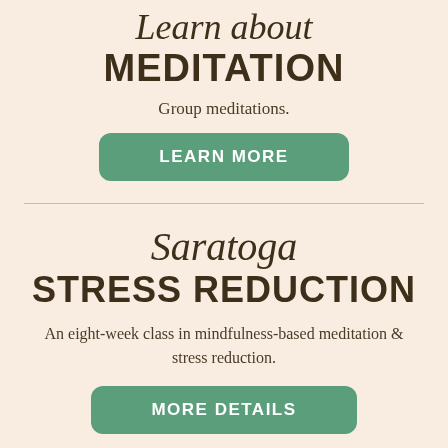Learn about MEDITATION
Group meditations.
LEARN MORE
Saratoga STRESS REDUCTION
An eight-week class in mindfulness-based meditation & stress reduction.
MORE DETAILS